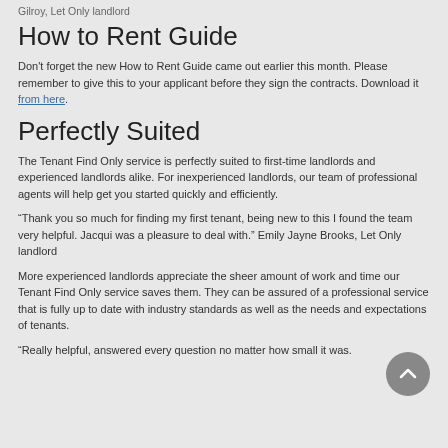Gilroy, Let Only landlord
How to Rent Guide
Don't forget the new How to Rent Guide came out earlier this month. Please remember to give this to your applicant before they sign the contracts. Download it from here.
Perfectly Suited
The Tenant Find Only service is perfectly suited to first-time landlords and experienced landlords alike. For inexperienced landlords, our team of professional agents will help get you started quickly and efficiently.
“Thank you so much for finding my first tenant, being new to this I found the team very helpful. Jacqui was a pleasure to deal with.” Emily Jayne Brooks, Let Only landlord
More experienced landlords appreciate the sheer amount of work and time our Tenant Find Only service saves them. They can be assured of a professional service that is fully up to date with industry standards as well as the needs and expectations of tenants.
“Really helpful, answered every question no matter how small it was. Great service. Would thoroughly recommend.” Matthew Connor, Let...